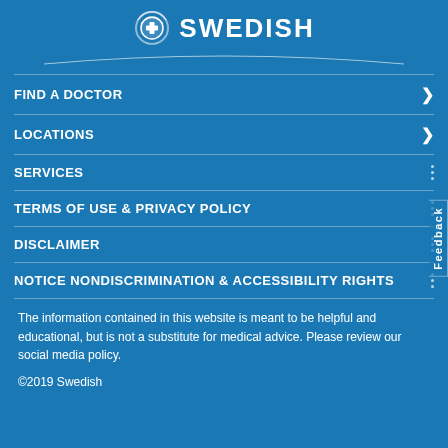[Figure (logo): Swedish Health logo with circular icon featuring a plus sign and arc lines, followed by bold text SWEDISH]
FIND A DOCTOR
LOCATIONS
SERVICES
TERMS OF USE & PRIVACY POLICY
DISCLAIMER
NOTICE NONDISCRIMINATION & ACCESSIBILITY RIGHTS
The information contained in this website is meant to be helpful and educational, but is not a substitute for medical advice. Please review our social media policy.
©2019 Swedish